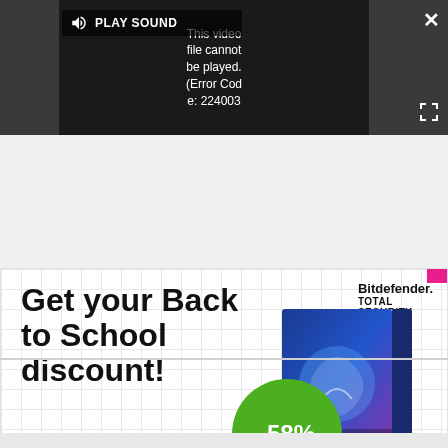[Figure (screenshot): Video player showing error: 'This video file cannot be played. (Error Code: 224003)' with PLAY SOUND button, close (X) button, and expand button]
[Figure (screenshot): Bitdefender Total Security advertisement: 'Get your Back to School discount!' with -58% green circle badge and pink BUY NOW button]
[Figure (screenshot): Nike advertisement: 'Nike. Just Do It' with subtitle 'Inspiring the world's athletes, Nike delivers the deals' and www.nike.com URL, with arrow CTA button]